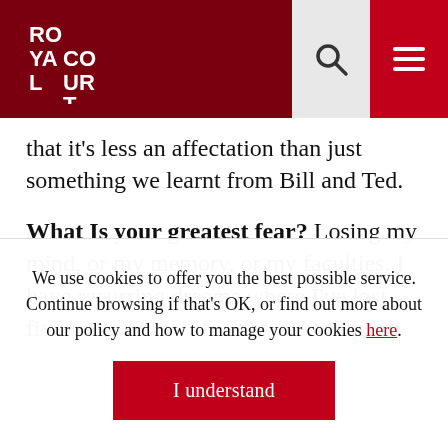Royal Court Theatre header with logo, search, and menu
that it’s less an affectation than just something we learnt from Bill and Ted.
What Is your greatest fear? Losing my mind, or my memory, or my faculties. I have recurring dreams where I’ve lost five years of my life, lost everything dear to me, and have to piece back the fragments. They’re a lot like bad 90’s thriller movies, but quite real.
We use cookies to offer you the best possible service. Continue browsing if that’s OK, or find out more about our policy and how to manage your cookies here.
I understand